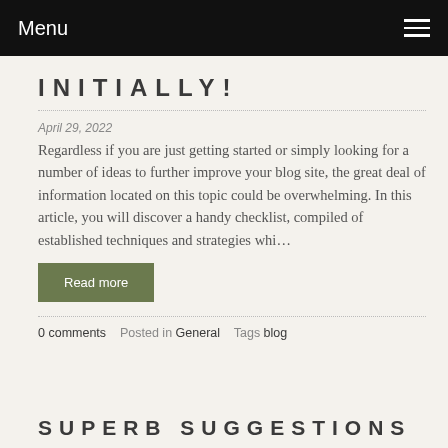Menu
INITIALLY!
April 29, 2022
Regardless if you are just getting started or simply looking for a number of ideas to further improve your blog site, the great deal of information located on this topic could be overwhelming. In this article, you will discover a handy checklist, compiled of established techniques and strategies whi…
Read more
0 comments   Posted in General   Tags blog
SUPERB SUGGESTIONS